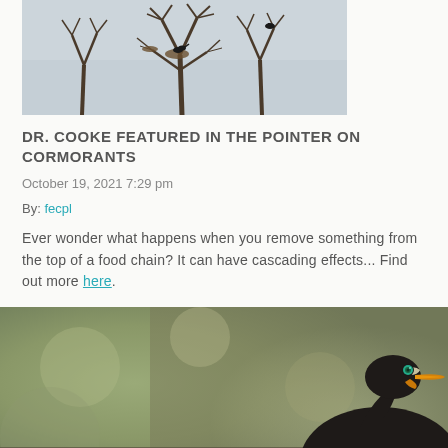[Figure (photo): Photo of cormorant birds perched in bare tree branches against a grey sky]
DR. COOKE FEATURED IN THE POINTER ON CORMORANTS
October 19, 2021 7:29 pm
By: fecpl
Ever wonder what happens when you remove something from the top of a food chain? It can have cascading effects... Find out more here.
[Figure (photo): Close-up photo of a cormorant bird with dark feathers, bright teal/green eye, and orange beak against a blurred green-grey background]